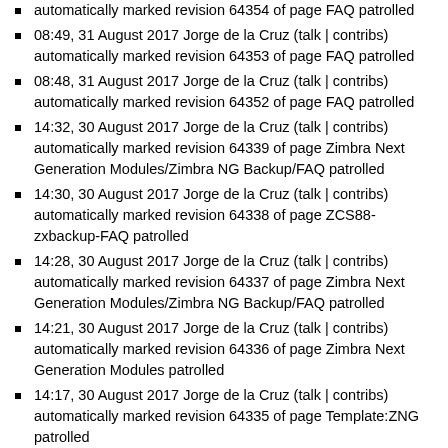automatically marked revision 64354 of page FAQ patrolled
08:49, 31 August 2017 Jorge de la Cruz (talk | contribs) automatically marked revision 64353 of page FAQ patrolled
08:48, 31 August 2017 Jorge de la Cruz (talk | contribs) automatically marked revision 64352 of page FAQ patrolled
14:32, 30 August 2017 Jorge de la Cruz (talk | contribs) automatically marked revision 64339 of page Zimbra Next Generation Modules/Zimbra NG Backup/FAQ patrolled
14:30, 30 August 2017 Jorge de la Cruz (talk | contribs) automatically marked revision 64338 of page ZCS88-zxbackup-FAQ patrolled
14:28, 30 August 2017 Jorge de la Cruz (talk | contribs) automatically marked revision 64337 of page Zimbra Next Generation Modules/Zimbra NG Backup/FAQ patrolled
14:21, 30 August 2017 Jorge de la Cruz (talk | contribs) automatically marked revision 64336 of page Zimbra Next Generation Modules patrolled
14:17, 30 August 2017 Jorge de la Cruz (talk | contribs) automatically marked revision 64335 of page Template:ZNG patrolled
14:15, 30 August 2017 Jorge de la Cruz (talk | contribs) automatically marked revision 64334 of page Zimbra Next Generation Modules/Zimbra NG Backup/How Backup NG Works patrolled
13:53, 30 August 2017 Jorge de la Cruz (talk | contribs) changed group membership for Cine from (none) to bureaucrat